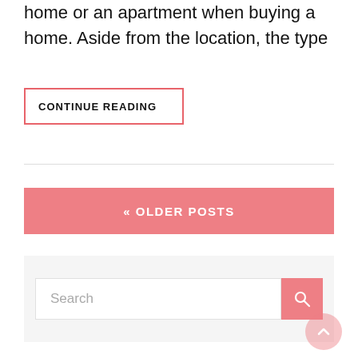home or an apartment when buying a home. Aside from the location, the type
CONTINUE READING
« OLDER POSTS
Search